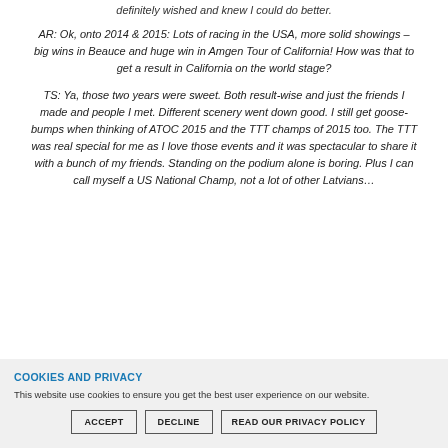definitely wished and knew I could do better.
AR: Ok, onto 2014 & 2015: Lots of racing in the USA, more solid showings – big wins in Beauce and huge win in Amgen Tour of California! How was that to get a result in California on the world stage?
TS: Ya, those two years were sweet. Both result-wise and just the friends I made and people I met. Different scenery went down good. I still get goose-bumps when thinking of ATOC 2015 and the TTT champs of 2015 too. The TTT was real special for me as I love those events and it was spectacular to share it with a bunch of my friends. Standing on the podium alone is boring. Plus I can call myself a US National Champ, not a lot of other Latvians…
COOKIES AND PRIVACY
This website use cookies to ensure you get the best user experience on our website.
ACCEPT   DECLINE   READ OUR PRIVACY POLICY